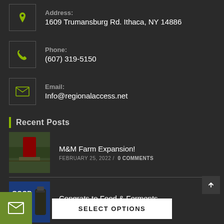Address: 1609 Trumansburg Rd. Ithaca, NY 14886
Phone: (607) 319-5150
Email: Info@regionalaccess.net
Recent Posts
M&M Farm Expansion!
FEBRUARY 25, 2022 / 0 COMMENTS
Congrats to Food & Ferments
FEBRUARY 2, 2022 / 0 COMMENTS
SELECT OPTIONS